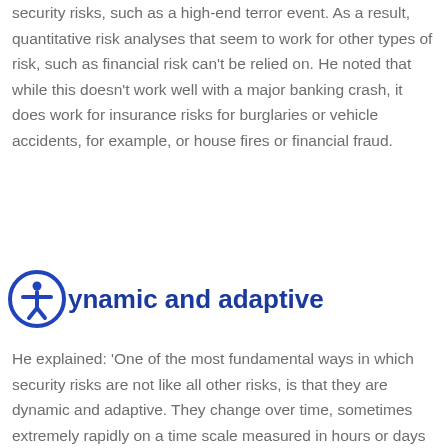security risks, such as a high-end terror event. As a result, quantitative risk analyses that seem to work for other types of risk, such as financial risk can't be relied on. He noted that while this doesn't work well with a major banking crash, it does work for insurance risks for burglaries or vehicle accidents, for example, or house fires or financial fraud.
Dynamic and adaptive
He explained: 'One of the most fundamental ways in which security risks are not like all other risks, is that they are dynamic and adaptive. They change over time, sometimes extremely rapidly on a time scale measured in hours or days or weeks rather than years or decades